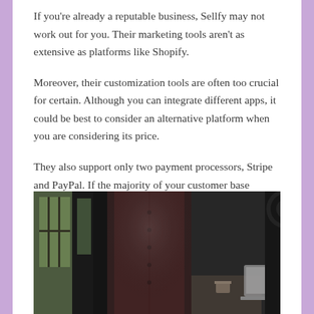If you're already a reputable business, Sellfy may not work out for you. Their marketing tools aren't as extensive as platforms like Shopify.
Moreover, their customization tools are often too crucial for certain. Although you can integrate different apps, it could be best to consider an alternative platform when you are considering its price.
They also support only two payment processors, Stripe and PayPal. If the majority of your customer base doesn't use those they might find it difficult for them to buy from you.
[Figure (photo): A person in a dark maroon/burgundy shirt standing in an office or workspace environment, with windows in the background on the left and camera/photography equipment visible on the right.]